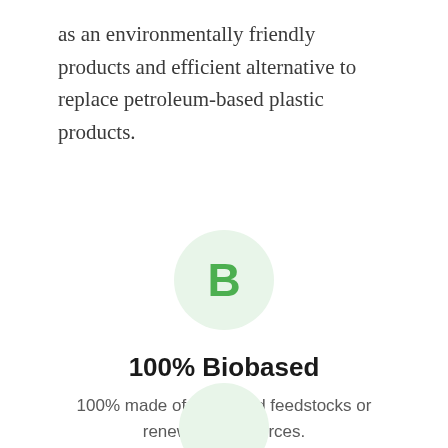as an environmentally friendly products and efficient alternative to replace petroleum-based plastic products.
[Figure (infographic): A circular light green icon with a bold green letter B in the center, representing a Biobased certification badge.]
100% Biobased
100% made of bio-based feedstocks or renewable resources.
[Figure (infographic): Partial view of another circular light green icon at the bottom of the page.]